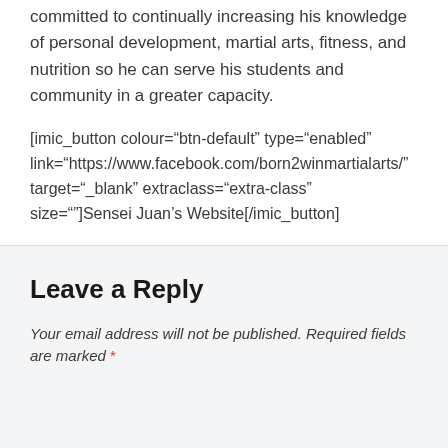committed to continually increasing his knowledge of personal development, martial arts, fitness, and nutrition so he can serve his students and community in a greater capacity.
[imic_button colour="btn-default" type="enabled" link="https://www.facebook.com/born2winmartialarts/" target="_blank" extraclass="extra-class" size=""]Sensei Juan's Website[/imic_button]
Leave a Reply
Your email address will not be published. Required fields are marked *